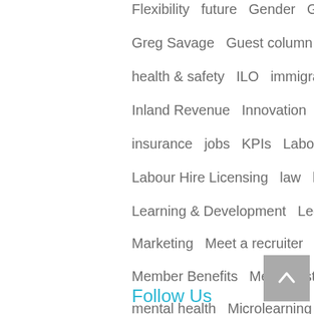Flexibility   future   Gender   Geneva
Greg Savage   Guest column
health & safety   ILO   immigration
Inland Revenue   Innovation   Insights
insurance   jobs   KPIs   Labour Hire
Labour Hire Licensing   law   learning
Learning & Development   Legislation
Marketing   Meet a recruiter
Member Benefits   Member stories
mental health   Microlearning   Mining
money   New Zealand   News in brief
Next Gen   Northern Territory   on-hire
Paternity   payroll
Follow Us